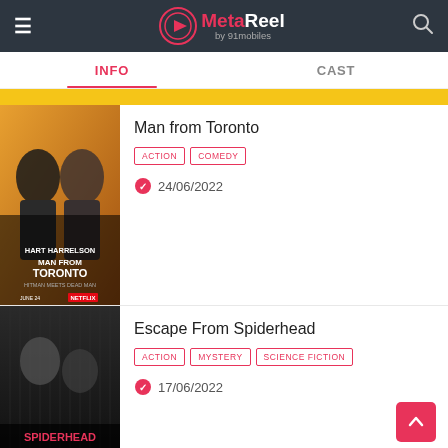MetaReel by 91mobiles — INFO | CAST
[Figure (screenshot): Partial movie card with yellow strip at top (truncated)]
Man from Toronto
ACTION  COMEDY
24/06/2022
[Figure (photo): Movie poster for Man from Toronto featuring Hart and Harrelson]
Escape From Spiderhead
ACTION  MYSTERY  SCIENCE FICTION
17/06/2022
[Figure (photo): Movie poster for Escape From Spiderhead (Spiderhead text visible at bottom)]